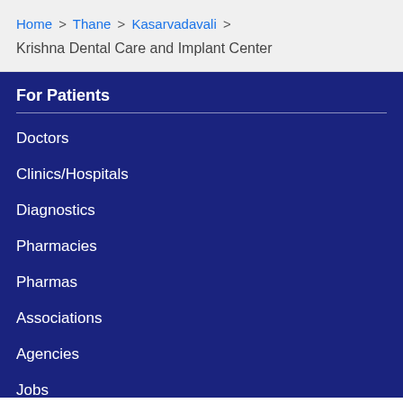Home > Thane > Kasarvadavali >
Krishna Dental Care and Implant Center
For Patients
Doctors
Clinics/Hospitals
Diagnostics
Pharmacies
Pharmas
Associations
Agencies
Jobs
Health Refresh